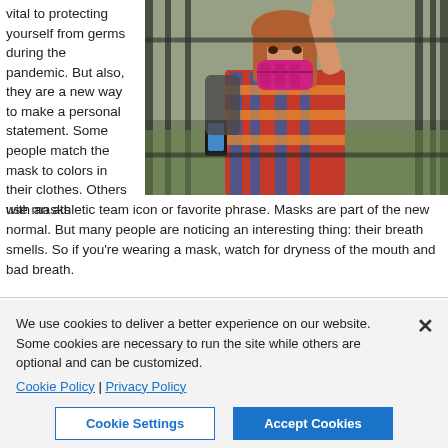vital to protecting yourself from germs during the pandemic. But also, they are a new way to make a personal statement. Some people match the mask to colors in their clothes. Others use masks with an athletic team icon or favorite phrase. Masks are part of the new normal. But many people are noticing an interesting thing: their breath smells. So if you're wearing a mask, watch for dryness of the mouth and bad breath.
[Figure (photo): Woman wearing a pink plaid face mask, holding a phone, waving in front of an ornamental iron fence]
We use cookies to deliver a better experience on our website. Some cookies are necessary to run the site while others are optional and can be customized. Cookie Policy | Privacy Policy